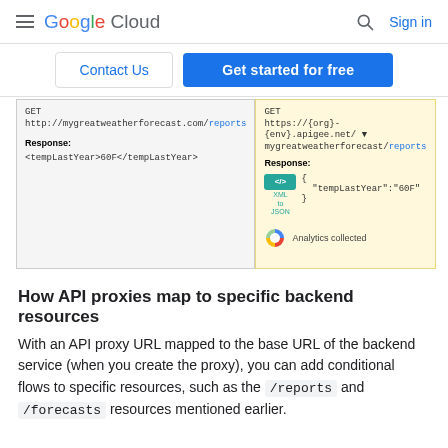Google Cloud   Sign in
[Figure (screenshot): Navigation buttons: Contact Us and Get started for free]
[Figure (screenshot): API proxy diagram showing two panels. Left panel (gray): GET http://mygreatweatherforecast.com/reports, Response: <tempLastYear>60F</tempLastYear>. Right panel (yellow): GET https://{org}-{env}.apigee.net/mygreatweatherforecast/reports, Response with XML to JSON badge showing {"tempLastYear":"60F"}, and Analytics collected icon.]
How API proxies map to specific backend resources
With an API proxy URL mapped to the base URL of the backend service (when you create the proxy), you can add conditional flows to specific resources, such as the /reports and /forecasts resources mentioned earlier.